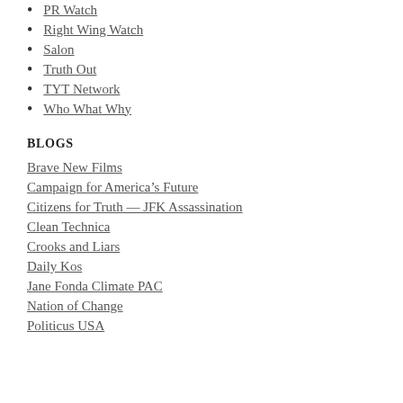PR Watch
Right Wing Watch
Salon
Truth Out
TYT Network
Who What Why
BLOGS
Brave New Films
Campaign for America's Future
Citizens for Truth — JFK Assassination
Clean Technica
Crooks and Liars
Daily Kos
Jane Fonda Climate PAC
Nation of Change
Politicus USA